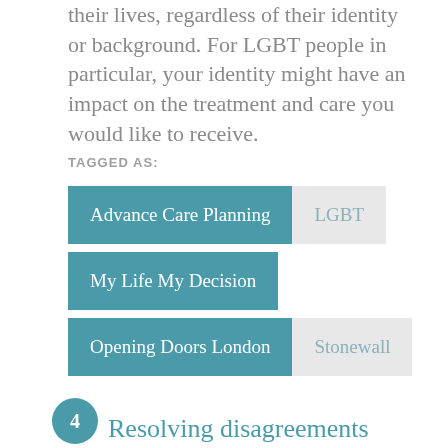their lives, regardless of their identity or background. For LGBT people in particular, your identity might have an impact on the treatment and care you would like to receive.
TAGGED AS:
Advance Care Planning
LGBT
My Life My Decision
Opening Doors London
Stonewall
Resolving disagreements